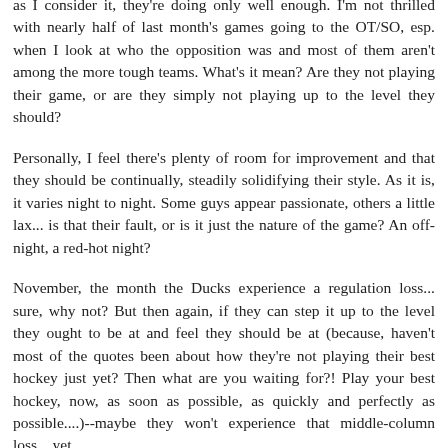as I consider it, they're doing only well enough. I'm not thrilled with nearly half of last month's games going to the OT/SO, esp. when I look at who the opposition was and most of them aren't among the more tough teams. What's it mean? Are they not playing their game, or are they simply not playing up to the level they should?
Personally, I feel there's plenty of room for improvement and that they should be continually, steadily solidifying their style. As it is, it varies night to night. Some guys appear passionate, others a little lax... is that their fault, or is it just the nature of the game? An off-night, a red-hot night?
November, the month the Ducks experience a regulation loss... sure, why not? But then again, if they can step it up to the level they ought to be at and feel they should be at (because, haven't most of the quotes been about how they're not playing their best hockey just yet? Then what are you waiting for?! Play your best hockey, now, as soon as possible, as quickly and perfectly as possible....)--maybe they won't experience that middle-column loss... yet.
Reply